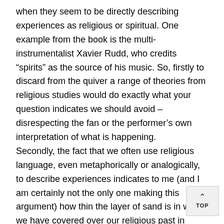when they seem to be directly describing experiences as religious or spiritual. One example from the book is the multi-instrumentalist Xavier Rudd, who credits “spirits” as the source of his music. So, firstly to discard from the quiver a range of theories from religious studies would do exactly what your question indicates we should avoid – disrespecting the fan or the performer’s own interpretation of what is happening. Secondly, the fact that we often use religious language, even metaphorically or analogically, to describe experiences indicates to me (and I am certainly not the only one making this argument) how thin the layer of sand is in which we have covered over our religious past in order to construct secular societies. Durkheim predicted that in the secular future, we would need secular forms of effervescence, and perhaps concerts are examples of this.